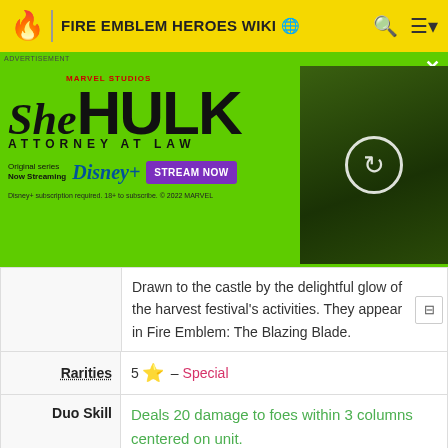FIRE EMBLEM HEROES WIKI
[Figure (screenshot): She-Hulk: Attorney at Law advertisement banner with green background, She-Hulk logo, Disney+ streaming button, and character photo]
Drawn to the castle by the delightful glow of the harvest festival's activities. They appear in Fire Emblem: The Blazing Blade.
| Label | Content |
| --- | --- |
| Rarities | 5 ⭐ — Special |
| Duo Skill | Deals 20 damage to foes within 3 columns centered on unit.
(Duo Skills can be used once per map by tapping the Duo button. Duo Skills cannot be used by units deployed using Pair Up.) |